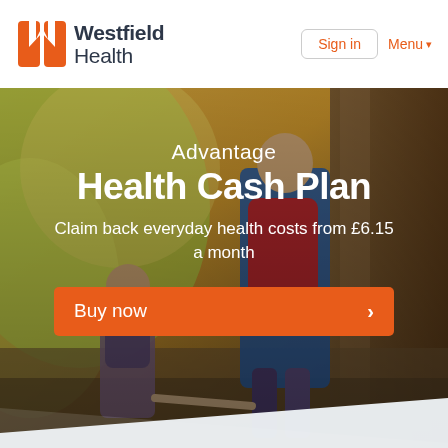[Figure (logo): Westfield Health logo with orange W icon and dark text 'Westfield Health']
Sign in
Menu ▾
[Figure (photo): Background photo of an adult and child hiking outdoors with backpacks, holding hands, walking through a forested area]
Advantage Health Cash Plan
Claim back everyday health costs from £6.15 a month
Buy now